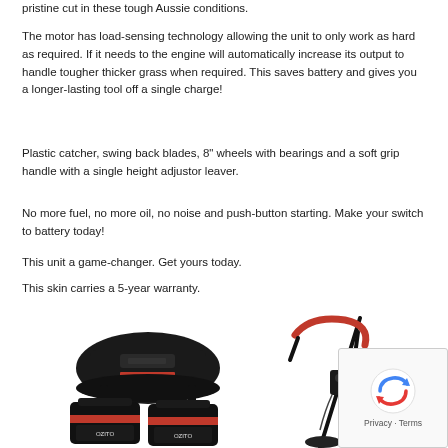pristine cut in these tough Aussie conditions.
The motor has load-sensing technology allowing the unit to only work as hard as required. If it needs to the engine will automatically increase its output to handle tougher thicker grass when required. This saves battery and gives you a longer-lasting tool off a single charge!
Plastic catcher, swing back blades, 8" wheels with bearings and a soft grip handle with a single height adjustor leaver.
No more fuel, no more oil, no noise and push-button starting. Make your switch to battery today!
This unit a game-changer. Get yours today.
This skin carries a 5-year warranty.
[Figure (photo): Photo showing battery charger, two battery packs, and a battery-powered garden trimmer/whipper-snipper with red handle. A reCAPTCHA privacy overlay is visible in the bottom right corner.]